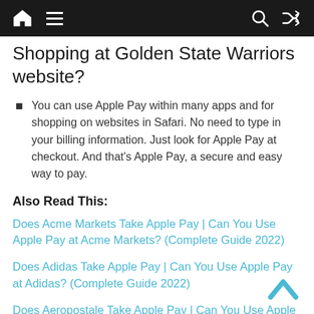Navigation bar with home, menu, search, and shuffle icons
Shopping at Golden State Warriors website?
You can use Apple Pay within many apps and for shopping on websites in Safari. No need to type in your billing information. Just look for Apple Pay at checkout. And that's Apple Pay, a secure and easy way to pay.
Also Read This:
Does Acme Markets Take Apple Pay | Can You Use Apple Pay at Acme Markets? (Complete Guide 2022)
Does Adidas Take Apple Pay | Can You Use Apple Pay at Adidas? (Complete Guide 2022)
Does Aeropostale Take Apple Pay | Can You Use Apple Pay at Aeropostale? (Complete Guide 2022)